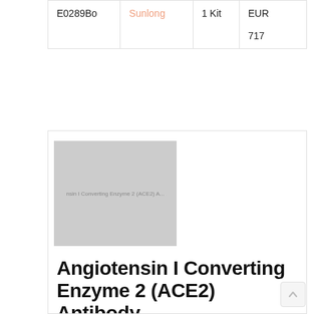|  |  |  |  |
| --- | --- | --- | --- |
| E0289Bo | Sunlong | 1 Kit | EUR
717 |
[Figure (photo): Thumbnail image placeholder for Angiotensin I Converting Enzyme 2 (ACE2) Antibody product, grey rectangle with small text overlay]
Angiotensin I Converting Enzyme 2 (ACE2) Antibody
|  |  |  |  |
| --- | --- | --- | --- |
| 20-abx130296 | Abbexa |  | EUR 439.00
EUR 190.00 |